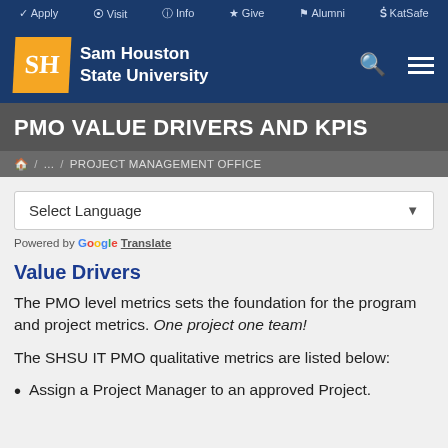✓ Apply  ⦿ Visit  ⓘ Info  ★ Give  ⚑ Alumni  Ṡ KatSafe
[Figure (logo): Sam Houston State University logo with SH orange box and white text university name]
PMO VALUE DRIVERS AND KPIS
🏠 / ... / PROJECT MANAGEMENT OFFICE
Select Language
Powered by Google Translate
Value Drivers
The PMO level metrics sets the foundation for the program and project metrics. One project one team!
The SHSU IT PMO qualitative metrics are listed below:
Assign a Project Manager to an approved Project.